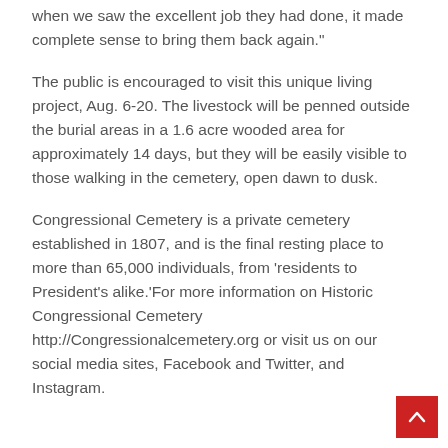when we saw the excellent job they had done, it made complete sense to bring them back again."
The public is encouraged to visit this unique living project, Aug. 6-20. The livestock will be penned outside the burial areas in a 1.6 acre wooded area for approximately 14 days, but they will be easily visible to those walking in the cemetery, open dawn to dusk.
Congressional Cemetery is a private cemetery established in 1807, and is the final resting place to more than 65,000 individuals, from 'residents to President's alike.'For more information on Historic Congressional Cemetery http://Congressionalcemetery.org or visit us on our social media sites, Facebook and Twitter, and Instagram.